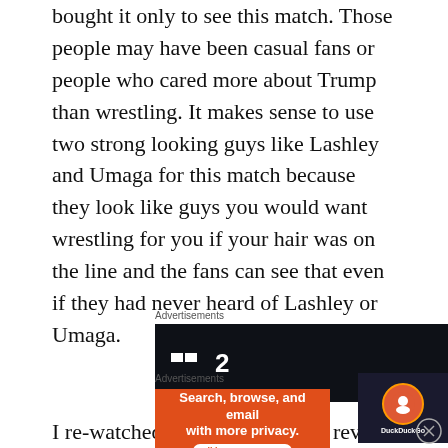bought it only to see this match. Those people may have been casual fans or people who cared more about Trump than wrestling. It makes sense to use two strong looking guys like Lashley and Umaga for this match because they look like guys you would want wrestling for you if your hair was on the line and the fans can see that even if they had never heard of Lashley or Umaga.
[Figure (other): Advertisement banner for Plan.io productivity app with dark background. Shows 'P2' logo and text 'Fewer meetings, more work.']
I re-watched this match for this review and I didn't think this was a very entertaining match to watch. The
[Figure (other): Advertisement banner for DuckDuckGo privacy browser app on orange background. Text: 'Search, browse, and email with more privacy. All in One Free App' with DuckDuckGo logo.]